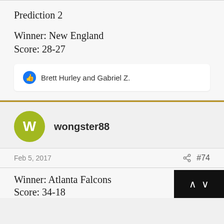Prediction 2
Winner: New England
Score: 28-27
Brett Hurley and Gabriel Z.
wongster88
Feb 5, 2017
#74
Winner: Atlanta Falcons